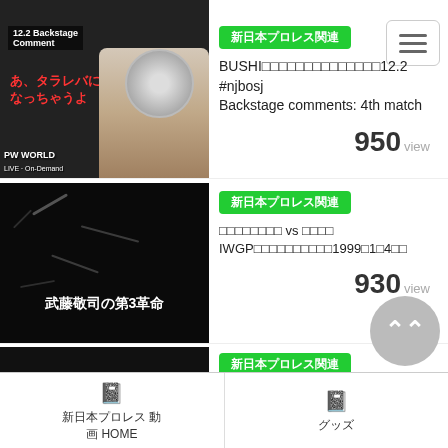[Figure (screenshot): Mobile app screenshot showing a list of video content from New Japan Pro Wrestling (NJPW World). Shows video thumbnails with green category tags '新日本プロレス関連', video titles in Japanese and English, and view counts.]
新日本プロレス関連
BUSHI□□□□□□□□□□□□□□□12.2 #njbosj Backstage comments: 4th match
950 view
新日本プロレス関連
□□□□□□□□ vs □□□□ IWGP□□□□□□□□□□1999□1□4□□
930 view
新日本プロレス関連
新日本プロレス 動画 HOME
グッズ